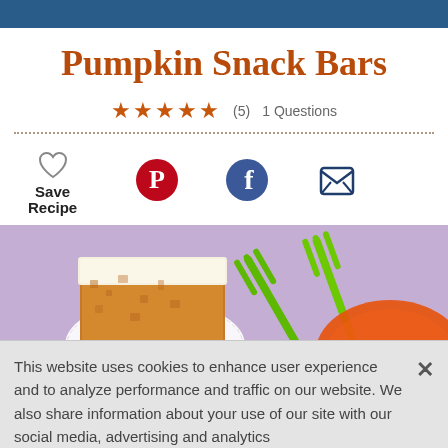Pumpkin Snack Bars
★★★★★ (5)   1 Questions
Save Recipe
[Figure (photo): A pumpkin snack bar with white cream cheese frosting on a white doily, with green forks and an orange plate in the background on a purple surface]
This website uses cookies to enhance user experience and to analyze performance and traffic on our website. We also share information about your use of our site with our social media, advertising and analytics